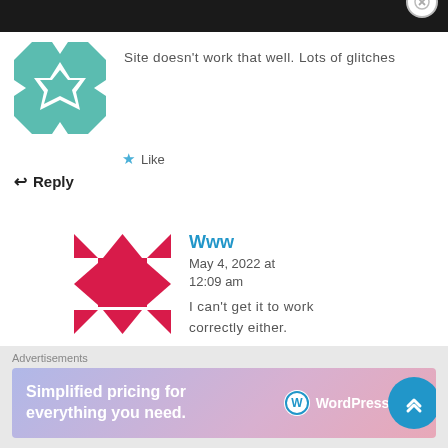[Figure (illustration): Teal/green decorative avatar with geometric star pattern on white background]
Site doesn't work that well. Lots of glitches
★ Like
↩ Reply
[Figure (illustration): Red and white geometric/diamond pattern avatar]
Www
May 4, 2022 at 12:09 am
I can't get it to work correctly either.
★ Like
↩ Reply
Advertisements
[Figure (infographic): WordPress.com advertisement banner: 'Simplified pricing for everything you need.' with WordPress.com logo]